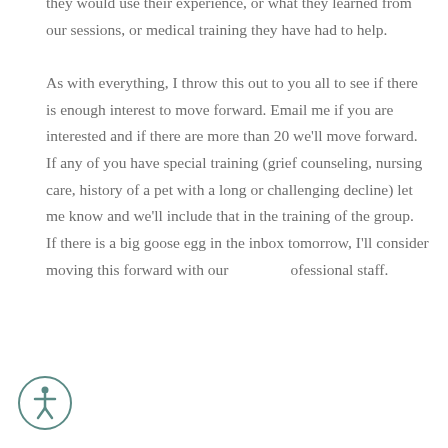they would use their experience, or what they learned from our sessions, or medical training they have had to help.

As with everything, I throw this out to you all to see if there is enough interest to move forward. Email me if you are interested and if there are more than 20 we'll move forward.
If any of you have special training (grief counseling, nursing care, history of a pet with a long or challenging decline) let me know and we'll include that in the training of the group.
If there is a big goose egg in the inbox tomorrow, I'll consider moving this forward with our professional staff.